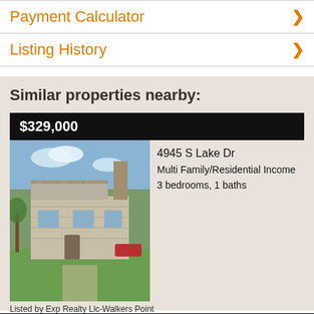Payment Calculator
Listing History
Similar properties nearby:
$329,000
[Figure (photo): Two-story residential/multi-family home with brick facade, balcony, and green lawn]
4945 S Lake Dr
Multi Family/Residential Income
3 bedrooms, 1 baths
Listed by Exp Realty Llc-Walkers Point
$310,000